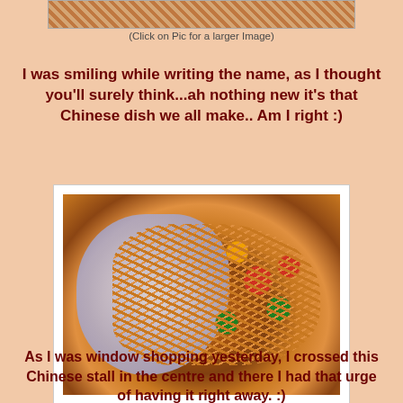[Figure (photo): Top strip of a food photo, partially visible at the top of the page]
(Click on Pic for a larger Image)
I was smiling while writing the name, as I thought you’ll surely think...ah nothing new it’s that Chinese dish we all make.. Am I right :)
[Figure (photo): A plate of Chinese noodles with vegetables and shrimp on a floral-patterned plate, with chopsticks visible in the background]
As I was window shopping yesterday, I crossed this Chinese stall in the centre and there I had that urge of having it right away. :)